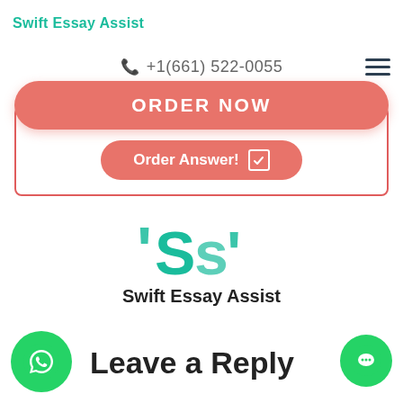Swift Essay Assist
+1(661) 522-0055
[Figure (screenshot): ORDER NOW button - large coral/salmon rounded button with white uppercase text]
[Figure (screenshot): Order Answer! button inside a white card with red border]
[Figure (logo): Swift Essay Assist logo graphic - teal stylized SEA letters]
Swift Essay Assist
Leave a Reply
[Figure (illustration): WhatsApp floating button - green circle with phone icon]
[Figure (illustration): Chat floating button - green circle with chat icon]